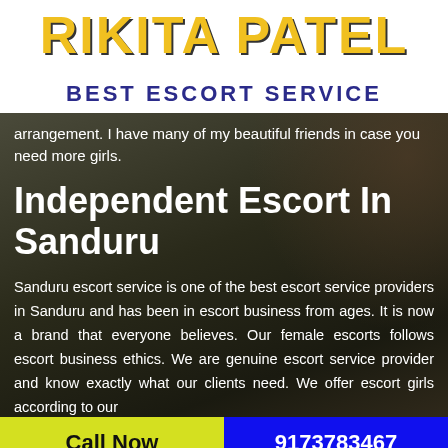RIKITA PATEL BEST ESCORT SERVICE
arrangement. I have many of my beautiful friends in case you need more girls.
Independent Escort In Sanduru
Sanduru escort service is one of the best escort service providers in Sanduru and has been in escort business from ages. It is now a brand that everyone believes. Our female escorts follows escort business ethics. We are genuine escort service provider and know exactly what our clients need. We offer escort girls according to our clients...
Call Now   9173783467